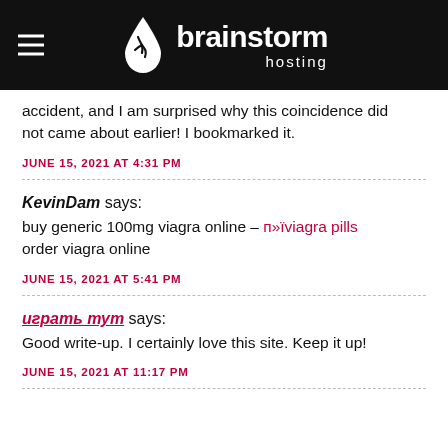brainstorm hosting
accident, and I am surprised why this coincidence did not came about earlier! I bookmarked it.
JUNE 15, 2021 AT 4:31 PM
KevinDam says:
buy generic 100mg viagra online – п»їviagra pills order viagra online
JUNE 15, 2021 AT 5:41 PM
says:
Good write-up. I certainly love this site. Keep it up!
JUNE 15, 2021 AT 11:17 PM